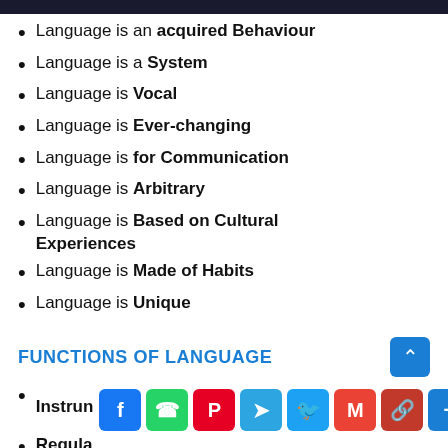Language is an acquired Behaviour
Language is a System
Language is Vocal
Language is Ever-changing
Language is for Communication
Language is Arbitrary
Language is Based on Cultural Experiences
Language is Made of Habits
Language is Unique
FUNCTIONS OF LANGUAGE
Instrun [partial — share bar overlay]
Regula [partial]